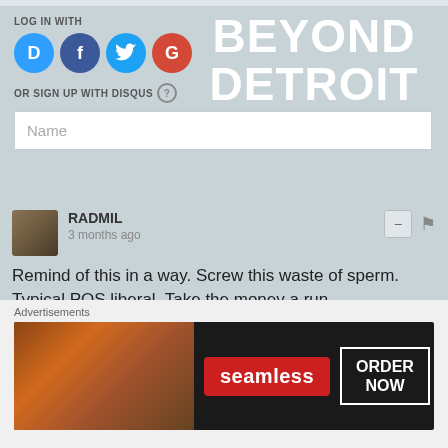LOG IN WITH
[Figure (screenshot): Social login icons: Disqus (D), Facebook (f), Twitter bird, Google (G)]
BEYOND DETROIT
OR SIGN UP WITH DISQUS ?
Name
RADMIL
3 months ago
Remind of this in a way. Screw this waste of sperm. Typical POS liberal. Take the money a run
View — uploads.disquscdn.com
1 ^ | v Reply
MugsMalone
Advertisements
[Figure (screenshot): Seamless food delivery advertisement banner with pizza photo, seamless logo, and ORDER NOW button]